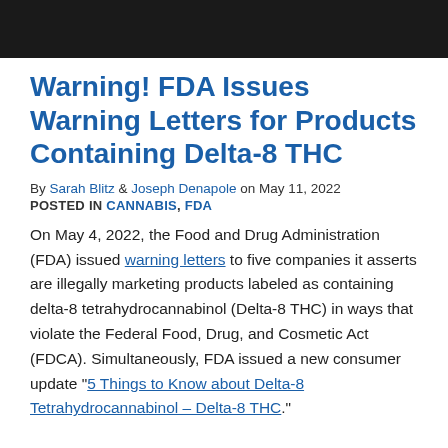[Figure (photo): Dark header image banner at the top of the page]
Warning! FDA Issues Warning Letters for Products Containing Delta-8 THC
By Sarah Blitz & Joseph Denapole on May 11, 2022
POSTED IN CANNABIS, FDA
On May 4, 2022, the Food and Drug Administration (FDA) issued warning letters to five companies it asserts are illegally marketing products labeled as containing delta-8 tetrahydrocannabinol (Delta-8 THC) in ways that violate the Federal Food, Drug, and Cosmetic Act (FDCA). Simultaneously, FDA issued a new consumer update “5 Things to Know about Delta-8 Tetrahydrocannabinol – Delta-8 THC.”